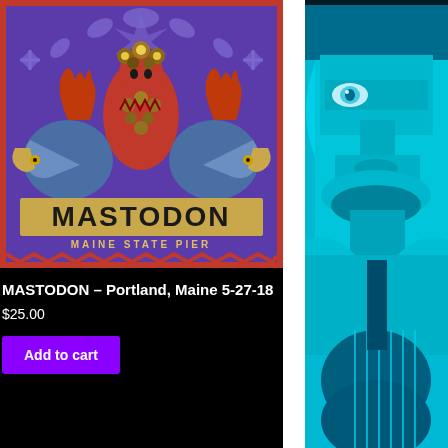[Figure (illustration): Concert poster for Mastodon at Maine State Pier, Portland, Maine, 5-27-18. Features a red figure with flowers surrounded by two blue bird-like creatures with orange crests, on a purple background. Text reads MASTODON and MAINE STATE PIER.]
MASTODON – Portland, Maine 5-27-18
$25.00
[Figure (illustration): Partial view of a cyan/teal-toned illustration of a person's face and upper body holding a guitar, rendered in blue and cyan tones.]